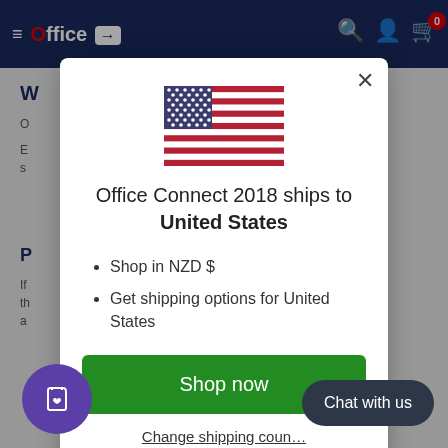Office Connect 2018 - navigation bar with logo and cart icon showing 0
[Figure (screenshot): Modal dialog on e-commerce website showing US flag, shipping destination text, bullet points, and Shop now button]
Office Connect 2018 ships to United States
Shop in NZD $
Get shipping options for United States
Shop now
Change shipping country
Chat with us